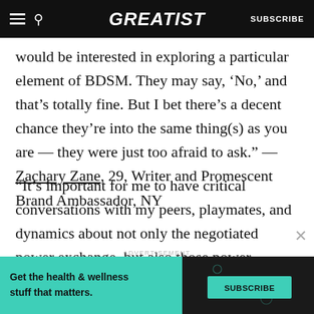GREATIST | SUBSCRIBE
would be interested in exploring a particular element of BDSM. They may say, ‘No,’ and that’s totally fine. But I bet there’s a decent chance they’re into the same thing(s) as you are — they were just too afraid to ask.” — Zachary Zane, 29, Writer and Promescent Brand Ambassador, NY
“It’s important for me to have critical conversations with my peers, playmates, and dynamics about not only the negotiated power exchange, but also those power dynamics that
ADVERTISEMENT
[Figure (infographic): Advertisement banner: teal background on left with text 'Get the health & wellness stuff that matters.' and a teal SUBSCRIBE button on dark right side with decorative icons.]